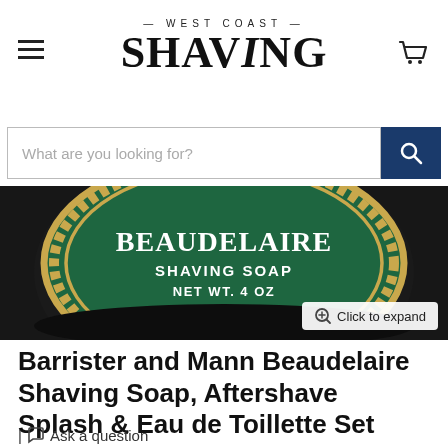— WEST COAST — SHAVING
What are you looking for?
[Figure (photo): Close-up photo of a round Barrister and Mann Beaudelaire Shaving Soap tin with a dark green lid featuring gold decorative elements and white text reading BEAUDELAIRE SHAVING SOAP NET WT. 4 OZ, placed on a dark wooden surface.]
Click to expand
Barrister and Mann Beaudelaire Shaving Soap, Aftershave Splash & Eau de Toillette Set
| Ask a question